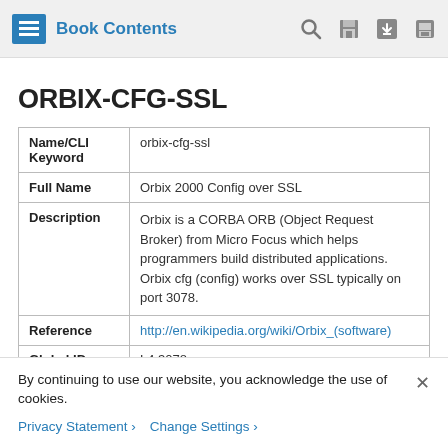Book Contents
ORBIX-CFG-SSL
| Name/CLI Keyword | orbix-cfg-ssl |
| Full Name | Orbix 2000 Config over SSL |
| Description | Orbix is a CORBA ORB (Object Request Broker) from Micro Focus which helps programmers build distributed applications. Orbix cfg (config) works over SSL typically on port 3078. |
| Reference | http://en.wikipedia.org/wiki/Orbix_(software) |
| Global ID | L4:3078 |
By continuing to use our website, you acknowledge the use of cookies.
Privacy Statement > Change Settings >